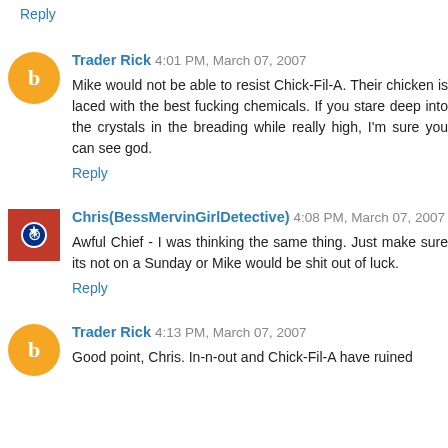Reply
Trader Rick 4:01 PM, March 07, 2007
Mike would not be able to resist Chick-Fil-A. Their chicken is laced with the best fucking chemicals. If you stare deep into the crystals in the breading while really high, I'm sure you can see god.
Reply
Chris(BessMervinGirlDetective) 4:08 PM, March 07, 2007
Awful Chief - I was thinking the same thing. Just make sure its not on a Sunday or Mike would be shit out of luck.
Reply
Trader Rick 4:13 PM, March 07, 2007
Good point, Chris. In-n-out and Chick-Fil-A have ruined